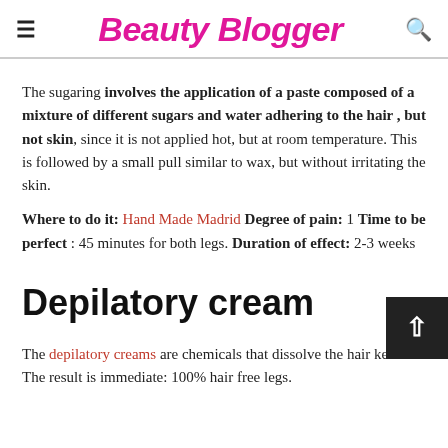Beauty Blogger
The sugaring involves the application of a paste composed of a mixture of different sugars and water adhering to the hair , but not skin, since it is not applied hot, but at room temperature. This is followed by a small pull similar to wax, but without irritating the skin.
Where to do it: Hand Made Madrid Degree of pain: 1 Time to be perfect : 45 minutes for both legs. Duration of effect: 2-3 weeks
Depilatory cream
The depilatory creams are chemicals that dissolve the hair keratin. The result is immediate: 100% hair free legs.